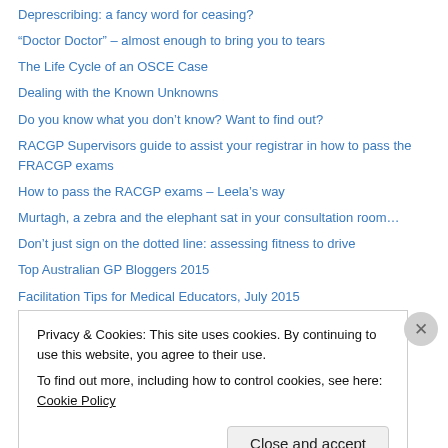Deprescribing: a fancy word for ceasing?
“Doctor Doctor” – almost enough to bring you to tears
The Life Cycle of an OSCE Case
Dealing with the Known Unknowns
Do you know what you don’t know? Want to find out?
RACGP Supervisors guide to assist your registrar in how to pass the FRACGP exams
How to pass the RACGP exams – Leela’s way
Murtagh, a zebra and the elephant sat in your consultation room…
Don’t just sign on the dotted line: assessing fitness to drive
Top Australian GP Bloggers 2015
Facilitation Tips for Medical Educators, July 2015
Going the extra mile.
Privacy & Cookies: This site uses cookies. By continuing to use this website, you agree to their use. To find out more, including how to control cookies, see here: Cookie Policy